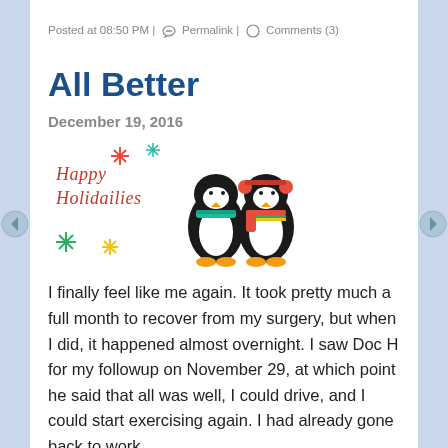Posted at 08:50 PM | 🔗 Permalink | 💬 Comments (3)
All Better
December 19, 2016
[Figure (illustration): Happy Holidailies graphic with two cartoon penguins wearing winter scarves and hats, surrounded by colorful snowflakes]
I finally feel like me again. It took pretty much a full month to recover from my surgery, but when I did, it happened almost overnight. I saw Doc H for my followup on November 29, at which point he said that all was well, I could drive, and I could start exercising again. I had already gone back to work,